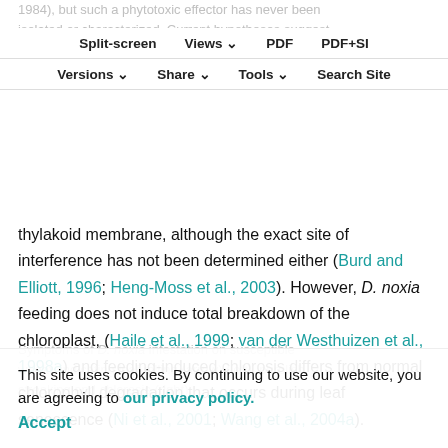1984), but such a phytotoxic effector has never been isolated or characterized. Current hypotheses suggest that D. noxia feeding induces malfunctioning of the photosynthetic apparatus at the stacked region of the
Split-screen | Views | PDF | PDF+SI | Versions | Share | Tools | Search Site
thylakoid membrane, although the exact site of interference has not been determined either (Burd and Elliott, 1996; Heng-Moss et al., 2003). However, D. noxia feeding does not induce total breakdown of the chloroplast, (Haile et al., 1999; van der Westhuizen et al., 1998a) and feeding-induced chlorosis differs from normal chlorophyll degradation that occurs during leaf senescence (Ni et al., 2001; Wang et al., 2004a).
Symptoms of D. noxia infestation on susceptible wheat, indicating leaf rolling (arrow) (left), purplish streaking and chlorosis (right).
This site uses cookies. By continuing to use our website, you are agreeing to our privacy policy. Accept